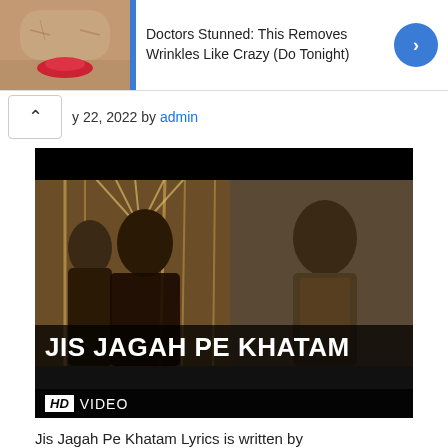[Figure (photo): Advertisement banner with close-up photo of elderly person's face with red lips, text reading 'Doctors Stunned: This Removes Wrinkles Like Crazy (Do Tonight)' and a blue circular arrow button]
y 22, 2022 by admin
[Figure (screenshot): Movie song video thumbnail showing three men in dramatic poses, with title 'JIS JAGAH PE KHATAM' in large white bold text and 'HD VIDEO' label at bottom]
Jis Jagah Pe Khatam Lyrics is written by